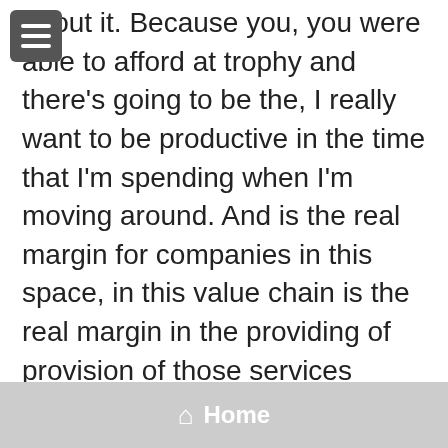about it. Because you, you were able to afford at trophy and there's going to be the, I really want to be productive in the time that I'm spending when I'm moving around. And is the real margin for companies in this space, in this value chain is the real margin in the providing of provision of those services versus some of the traditional manufacturers might is that part more likely to be commoditized at some point or to some extent. Yeah, exactly. I think that the risk that you run is if you're relegating yourself to that premium blank where I only served the market of ownership, not usership.
Home